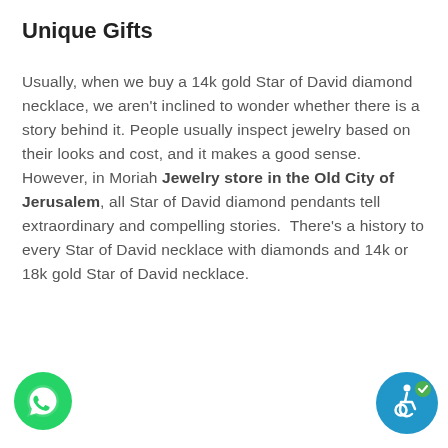Unique Gifts
Usually, when we buy a 14k gold Star of David diamond necklace, we aren't inclined to wonder whether there is a story behind it. People usually inspect jewelry based on their looks and cost, and it makes a good sense.  However, in Moriah Jewelry store in the Old City of Jerusalem, all Star of David diamond pendants tell extraordinary and compelling stories.  There's a history to every Star of David necklace with diamonds and 14k or 18k gold Star of David necklace.
[Figure (illustration): WhatsApp contact button - green circle with white phone/chat icon]
[Figure (illustration): Accessibility icon - blue circle with wheelchair accessibility symbol and checkmark]